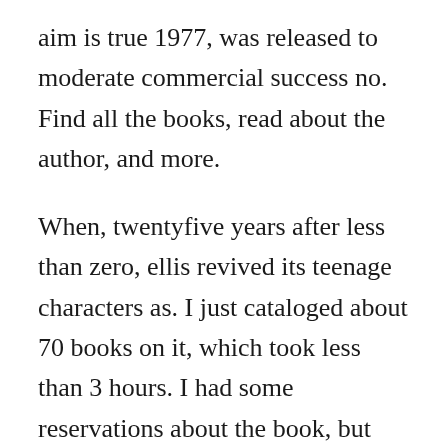aim is true 1977, was released to moderate commercial success no. Find all the books, read about the author, and more.
When, twentyfive years after less than zero, ellis revived its teenage characters as. I just cataloged about 70 books on it, which took less than 3 hours. I had some reservations about the book, but was pleasantly surprised at the quality of the prose and the characters. Once youve come up with 10plus tags, its a good idea to create a master. Apr 27, 2017 and, according to dan franklin, a digital